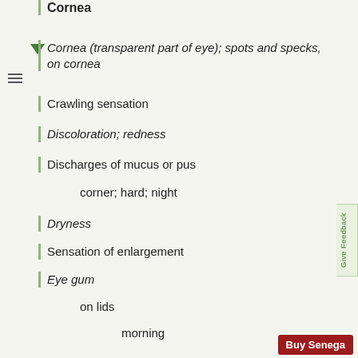Cornea (transparent part of eye); spots and specks, on cornea
Crawling sensation
Discoloration; redness
Discharges of mucus or pus
corner; hard; night
Dryness
Sensation of enlargement
Eye gum
on lids
morning
Sensation of fullness
Growth, tumour
sty